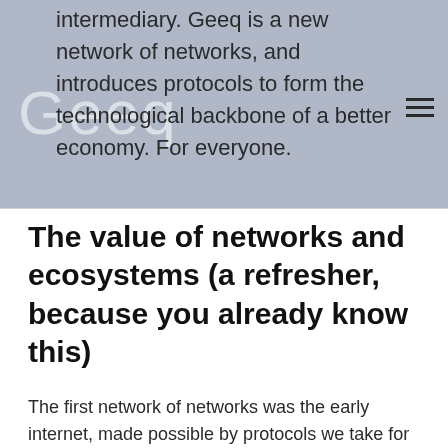intermediary. Geeq is a new network of networks, and introduces protocols to form the technological backbone of a better economy. For everyone.
The value of networks and ecosystems (a refresher, because you already know this)
The first network of networks was the early internet, made possible by protocols we take for granted. HTTP, or HyperText Transfer Protocol, made it possible to transmit Webpages containing links, images, media, and formatted content, although these were not primarily